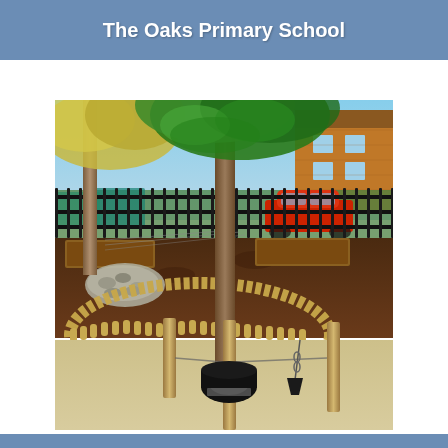The Oaks Primary School
[Figure (photo): Outdoor school garden/nature play area with raised wooden beds filled with bark mulch, a large tree in the center with green foliage, wooden log roll edging forming circular borders, vertical wooden posts, a tyre at the base of a post, a hanging bucket/planter, gravel patches, and a black metal security fence in the background with a red car visible beyond the fence. A brick building is visible in the upper right corner.]